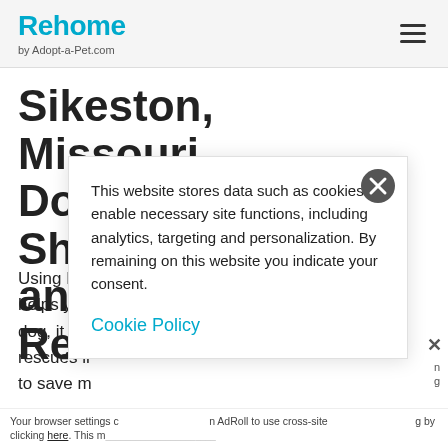Rehome by Adopt-a-Pet.com
Sikeston, Missouri Dog Shelters and Rescues
Using Rehome helps you dog, it also rescues in to save m
[Figure (screenshot): Cookie consent modal overlay with close button, message about cookies enabling site functions including analytics targeting and personalization, and a Cookie Policy link.]
Your browser settings d AdRoll to use cross-site by clicking here. This m